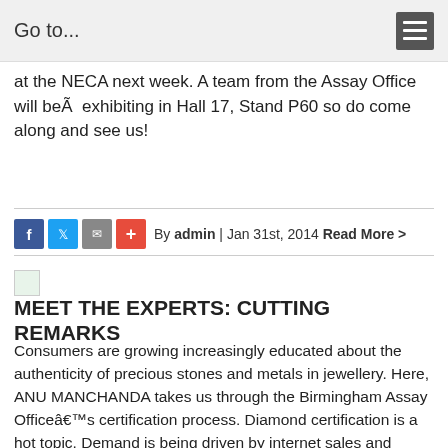Go to...
at the NECA next week. A team from the Assay Office will beÂ  exhibiting in Hall 17, Stand P60 so do come along and see us!
By admin | Jan 31st, 2014 Read More >
[Figure (photo): Small broken image placeholder icon]
MEET THE EXPERTS: CUTTING REMARKS
Consumers are growing increasingly educated about the authenticity of precious stones and metals in jewellery. Here, ANU MANCHANDA takes us through the Birmingham Assay Officeâ€™s certification process. Diamond certification is a hot topic. Demand is being driven by internet sales and research and the consumerâ€™s perceived increase in knowledge as they try to assess one potential purchase against